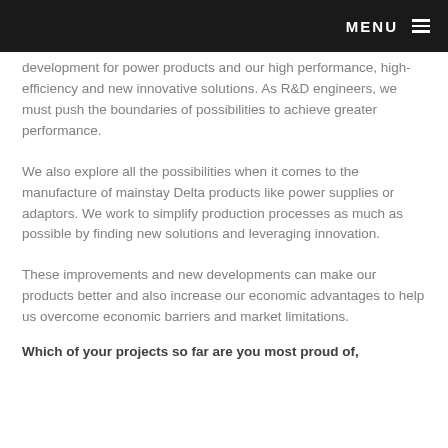MENU
development for power products and our high performance, high-efficiency and new innovative solutions. As R&D engineers, we must push the boundaries of possibilities to achieve greater performance.
We also explore all the possibilities when it comes to the manufacture of mainstay Delta products like power supplies or adaptors. We work to simplify production processes as much as possible by finding new solutions and leveraging innovation.
These improvements and new developments can make our products better and also increase our economic advantages to help us overcome economic barriers and market limitations.
Which of your projects so far are you most proud of,